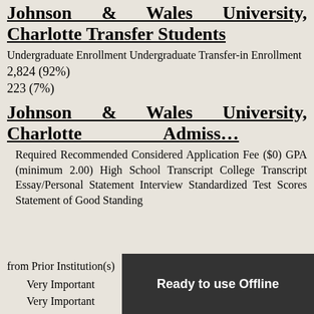Johnson & Wales University, Charlotte Transfer Students
Undergraduate Enrollment Undergraduate Transfer-in Enrollment
2,824 (92%)
223 (7%)
Johnson & Wales University, Charlotte Admiss…
Required Recommended Considered Application Fee ($0) GPA (minimum 2.00) High School Transcript College Transcript Essay/Personal Statement Interview Standardized Test Scores Statement of Good Standing from Prior Institution(s)
Very Important
Very Important